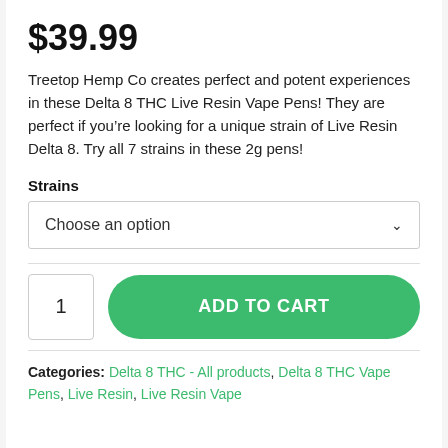$39.99
Treetop Hemp Co creates perfect and potent experiences in these Delta 8 THC Live Resin Vape Pens! They are perfect if you’re looking for a unique strain of Live Resin Delta 8. Try all 7 strains in these 2g pens!
Strains
Choose an option
1  ADD TO CART
Categories: Delta 8 THC - All products, Delta 8 THC Vape Pens, Live Resin, Live Resin Vape